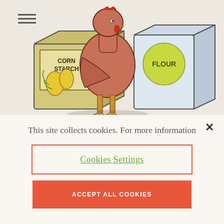[Figure (illustration): Illustrated cartoon chicken standing between a box of Corn Starch and a box of Flour on a beige background. A hamburger menu icon appears in the top-left corner.]
This site collects cookies. For more information
Cookies Settings
ACCEPT ALL COOKIES